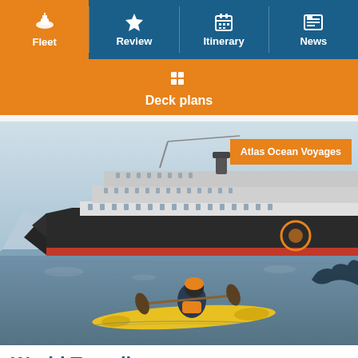Fleet | Review | Itinerary | News
Deck plans
[Figure (photo): Large expedition cruise ship (World Traveller, Atlas Ocean Voyages) in Antarctic waters with icebergs. A person in an orange helmet kayaks a yellow kayak in the foreground. A whale tail visible in the right background. Atlas Ocean Voyages orange badge overlay in top right.]
World Traveller